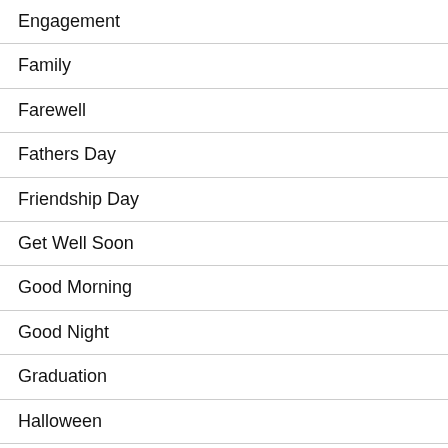Engagement
Family
Farewell
Fathers Day
Friendship Day
Get Well Soon
Good Morning
Good Night
Graduation
Halloween
Happiness